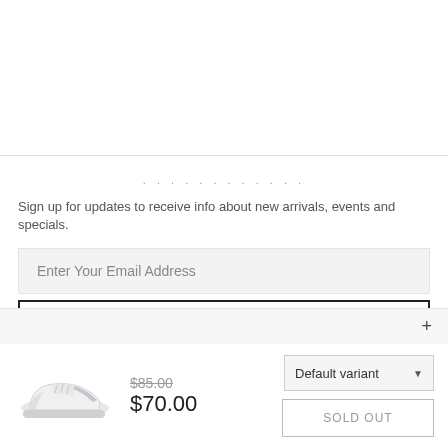. . . . . . . . . . . .
Sign up for updates to receive info about new arrivals, events and specials.
Enter Your Email Address
SUBSCRIBE
+
[Figure (photo): White sneaker/shoe product image]
$85.00  $70.00
Default variant
SOLD OUT